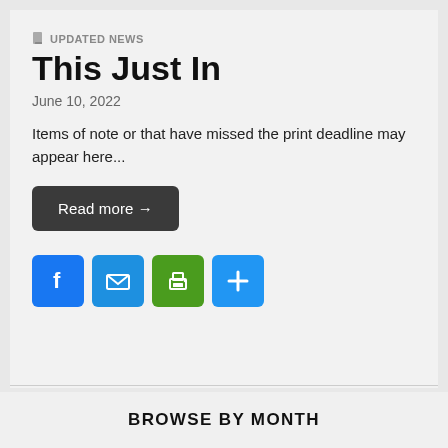UPDATED NEWS
This Just In
June 10, 2022
Items of note or that have missed the print deadline may appear here...
Read more →
[Figure (infographic): Four social sharing icon buttons: Facebook (blue), Email/envelope (blue), Print (green), Share/plus (blue)]
BROWSE BY MONTH